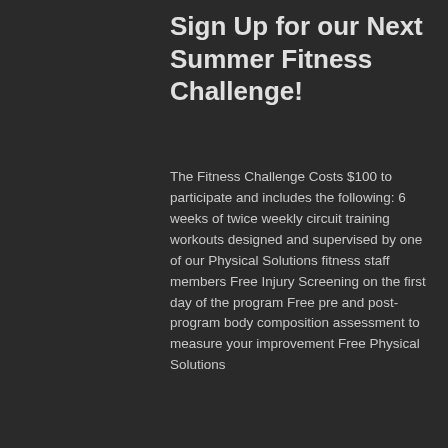Sign Up for our Next Summer Fitness Challenge!
The Fitness Challenge Costs $100 to participate and includes the following: 6 weeks of twice weekly circuit training workouts designed and supervised by one of our Physical Solutions fitness staff members Free Injury Screening on the first day of the program Free pre and post-program body composition assessment to measure your improvement Free Physical Solutions
Posted by Admin1
Cardio Fitness
Fitness Tips
General
Gym Fitness